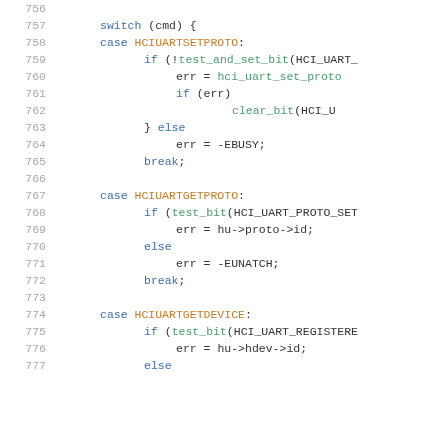[Figure (screenshot): Source code listing showing lines 756-777 of a C file implementing HCI UART ioctl commands including switch statement with cases for HCIUARTSETPROTO, HCIUARTGETPROTO, and HCIUARTGETDEVICE]